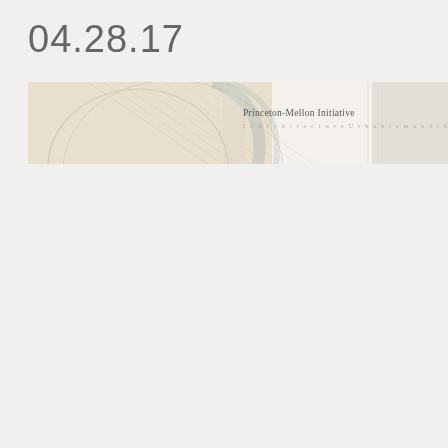04.28.17
[Figure (illustration): Decorative banner image with abstract architectural line art in cream and beige tones, with text 'Princeton-Mellon Initiative' overlaid on the right side]